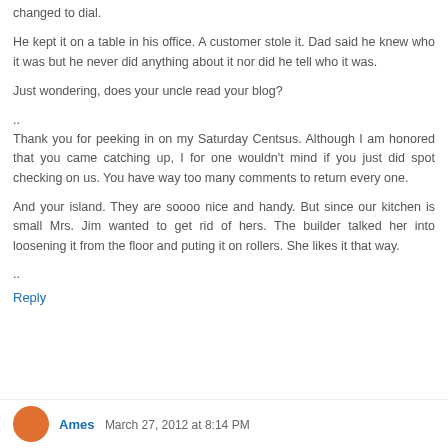changed to dial.
He kept it on a table in his office. A customer stole it. Dad said he knew who it was but he never did anything about it nor did he tell who it was.
Just wondering, does your uncle read your blog?
..
Thank you for peeking in on my Saturday Centsus. Although I am honored that you came catching up, I for one wouldn't mind if you just did spot checking on us. You have way too many comments to return every one.
And your island. They are soooo nice and handy. But since our kitchen is small Mrs. Jim wanted to get rid of hers. The builder talked her into loosening it from the floor and puting it on rollers. She likes it that way.
..
Reply
Ames  March 27, 2012 at 8:14 PM